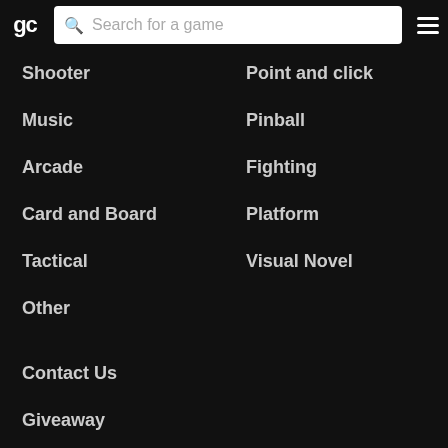gc | Search for a game
Shooter
Point and click
Music
Pinball
Arcade
Fighting
Card and Board
Platform
Tactical
Visual Novel
Other
Contact Us
Giveaway
Blog